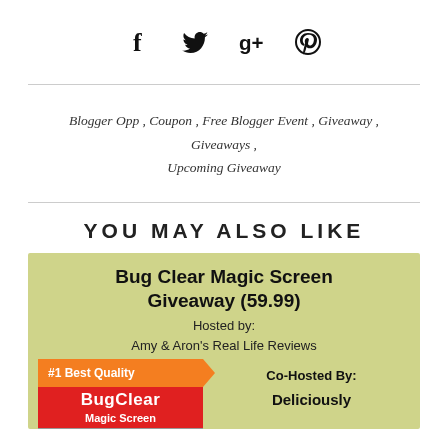[Figure (other): Social media share icons: Facebook (f), Twitter (bird), Google+ (g+), Pinterest (p)]
Blogger Opp , Coupon , Free Blogger Event , Giveaway , Giveaways , Upcoming Giveaway
YOU MAY ALSO LIKE
[Figure (illustration): Blog post card on olive/yellow-green background for 'Bug Clear Magic Screen Giveaway (59.99)' hosted by Amy & Aron's Real Life Reviews, with product image showing BugClear Magic Screen branding and co-hosted by Deliciously...]